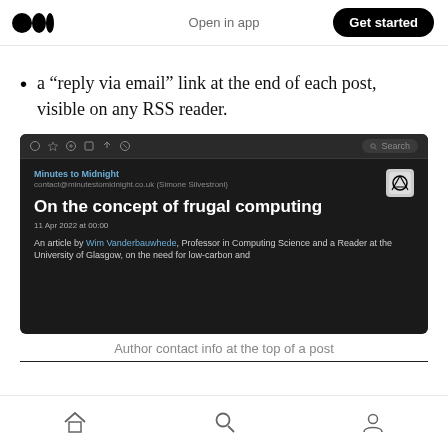Medium app header with logo, Open in app, Get started
a “reply via email” link at the end of each post, visible on any RSS reader.
[Figure (screenshot): Screenshot of an RSS reader showing a post titled 'On the concept of frugal computing' from Minutes to Midnight, dated 11 Apr 2022 at 00:00, with an excerpt mentioning Wim Vanderbauwhede, Professor in Computing Science and a Reader at the University of Glasgow.]
Author contact info at the top of a post
Bottom navigation bar with home, search, and profile icons